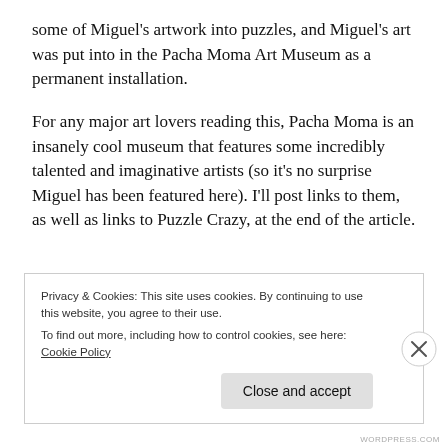some of Miguel's artwork into puzzles, and Miguel's art was put into in the Pacha Moma Art Museum as a permanent installation.
For any major art lovers reading this, Pacha Moma is an insanely cool museum that features some incredibly talented and imaginative artists (so it's no surprise Miguel has been featured here). I'll post links to them, as well as links to Puzzle Crazy, at the end of the article.
Privacy & Cookies: This site uses cookies. By continuing to use this website, you agree to their use.
To find out more, including how to control cookies, see here: Cookie Policy
Close and accept